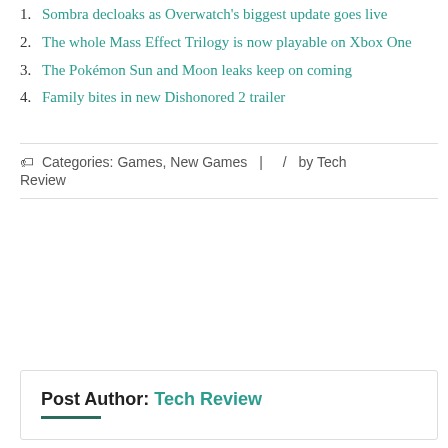Sombra decloaks as Overwatch's biggest update goes live
The whole Mass Effect Trilogy is now playable on Xbox One
The Pokémon Sun and Moon leaks keep on coming
Family bites in new Dishonored 2 trailer
Categories: Games, New Games | / by Tech Review
Post Author: Tech Review